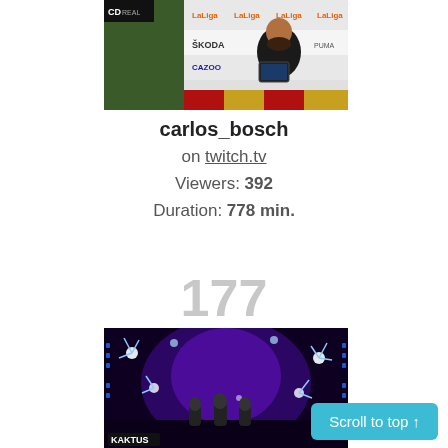[Figure (screenshot): Twitch stream thumbnail showing a football press conference with a bearded man in black shirt, LaLiga and SKODA branding visible, Valencian flag in background]
carlos_bosch
on twitch.tv
Viewers: 392
Duration: 778 min.
177
[Figure (screenshot): Stream thumbnail showing a TV talent show stage with blue and purple lighting, star-burst lights, performers on stage, KAKTUS logo at bottom left]
Scroll to top ↑